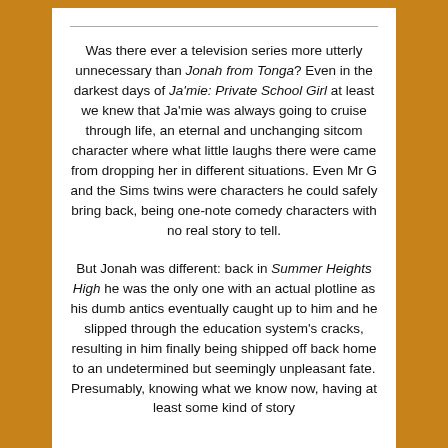Was there ever a television series more utterly unnecessary than Jonah from Tonga? Even in the darkest days of Ja'mie: Private School Girl at least we knew that Ja'mie was always going to cruise through life, an eternal and unchanging sitcom character where what little laughs there were came from dropping her in different situations. Even Mr G and the Sims twins were characters he could safely bring back, being one-note comedy characters with no real story to tell.
But Jonah was different: back in Summer Heights High he was the only one with an actual plotline as his dumb antics eventually caught up to him and he slipped through the education system's cracks, resulting in him finally being shipped off back home to an undetermined but seemingly unpleasant fate. Presumably, knowing what we know now, having at least some kind of story